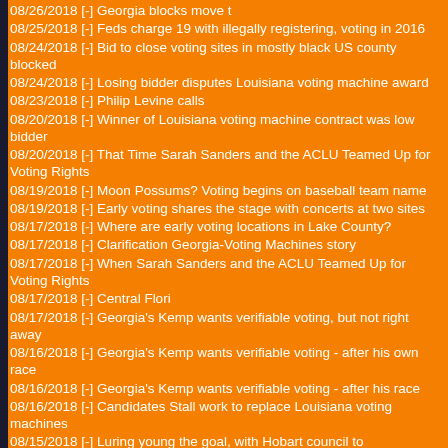08/26/2018 [-] Georgia blocks move t
08/25/2018 [-] Feds charge 19 with illegally registering, voting in 2016
08/24/2018 [-] Bid to close voting sites in mostly black US county blocked
08/24/2018 [-] Losing bidder disputes Louisiana voting machine award
08/23/2018 [-] Philip Levine calls
08/20/2018 [-] Winner of Louisiana voting machine contract was low bidder
08/20/2018 [-] That Time Sarah Sanders and the ACLU Teamed Up for Voting Rights
08/19/2018 [-] Moon Possums? Voting begins on baseball team name
08/19/2018 [-] Early voting shares the stage with concerts at two sites
08/17/2018 [-] Where are early voting locations in Lake County?
08/17/2018 [-] Clarification Georgia-Voting Machines story
08/17/2018 [-] When Sarah Sanders and the ACLU Teamed Up for Voting Rights
08/17/2018 [-] Central Flori
08/17/2018 [-] Georgia's Kemp wants verifiable voting, but not right away
08/16/2018 [-] Georgia's Kemp wants verifiable voting - after his own race
08/16/2018 [-] Georgia's Kemp wants verifiable voting - after his race
08/16/2018 [-] Candidates Stall work to replace Louisiana voting machines
08/15/2018 [-] Luring young the goal, with Hobart council to